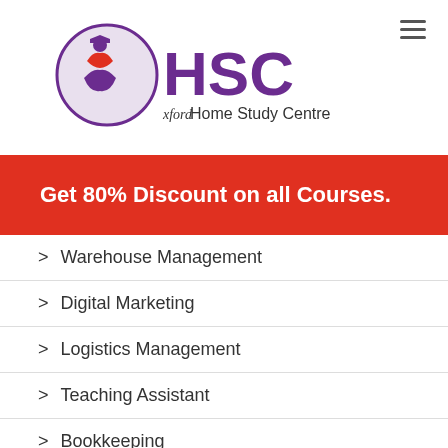[Figure (logo): HSC Home Study Centre logo with purple circular emblem and text]
Get 80% Discount on all Courses.
> Warehouse Management
> Digital Marketing
> Logistics Management
> Teaching Assistant
> Bookkeeping
> Food Hygiene
> Counselling Skills